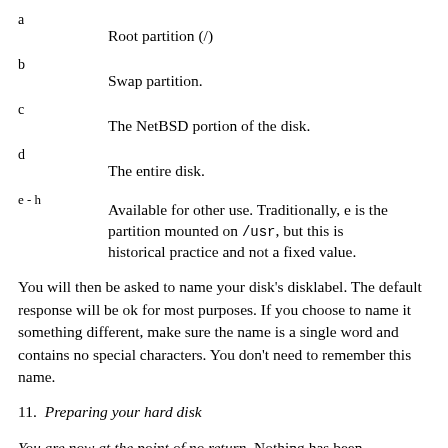a
Root partition (/)
b
Swap partition.
c
The NetBSD portion of the disk.
d
The entire disk.
e-h
Available for other use. Traditionally, e is the partition mounted on /usr, but this is historical practice and not a fixed value.
You will then be asked to name your disk's disklabel. The default response will be ok for most purposes. If you choose to name it something different, make sure the name is a single word and contains no special characters. You don't need to remember this name.
11. Preparing your hard disk
You are now at the point of no return. Nothing has been